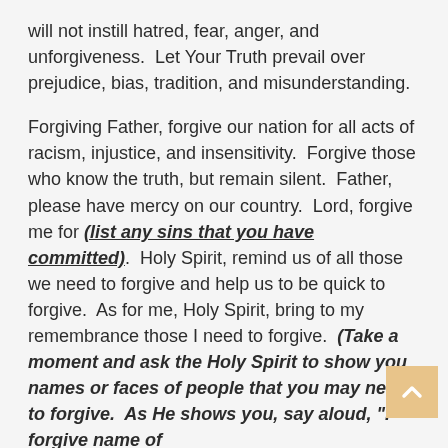will not instill hatred, fear, anger, and unforgiveness.  Let Your Truth prevail over prejudice, bias, tradition, and misunderstanding.
Forgiving Father, forgive our nation for all acts of racism, injustice, and insensitivity.  Forgive those who know the truth, but remain silent.  Father, please have mercy on our country.  Lord, forgive me for (list any sins that you have committed).  Holy Spirit, remind us of all those we need to forgive and help us to be quick to forgive.  As for me, Holy Spirit, bring to my remembrance those I need to forgive.  (Take a moment and ask the Holy Spirit to show you names or faces of people that you may need to forgive.  As He shows you, say aloud, "I forgive name of